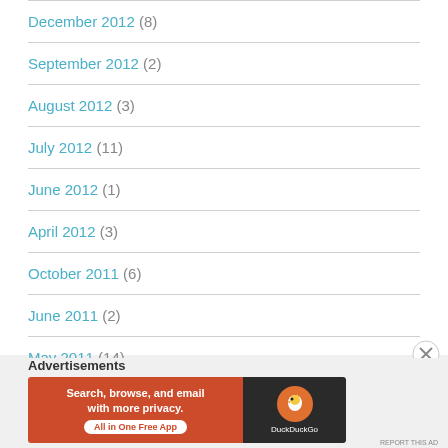December 2012 (8)
September 2012 (2)
August 2012 (3)
July 2012 (11)
June 2012 (1)
April 2012 (3)
October 2011 (6)
June 2011 (2)
May 2011 (14)
Advertisements
[Figure (screenshot): DuckDuckGo advertisement banner: 'Search, browse, and email with more privacy. All in One Free App' with DuckDuckGo logo on dark background]